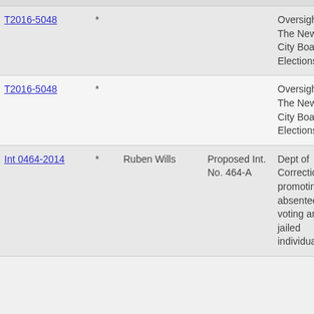| File |  | Prime Sponsor | Local Law or Res. No. | Title |
| --- | --- | --- | --- | --- |
| T2016-5048 | * |  |  | Oversight - The New York City Board of Elections |
| T2016-5048 | * |  |  | Oversight - The New York City Board of Elections |
| Int 0464-2014 | * | Ruben Wills | Proposed Int. No. 464-A | Dept of Correction promoting absentee voting among jailed individuals. |